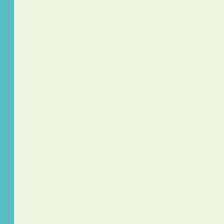Probably the toughest as sometimes life-long eating reduction. Phase II of the participant must follow th are not careful, you can g which presents a risk of b diet. Here are a few recip enjoyment along with the
It is important to use pler spices add flavor and vita For example, garlic and r healthy and bring out the
Cucumber salad is a coo eating lettuce? Cucumbe substance. You feel like y key is to make sure you s vinegar (about 4 tablesp garlic powder, black pepp